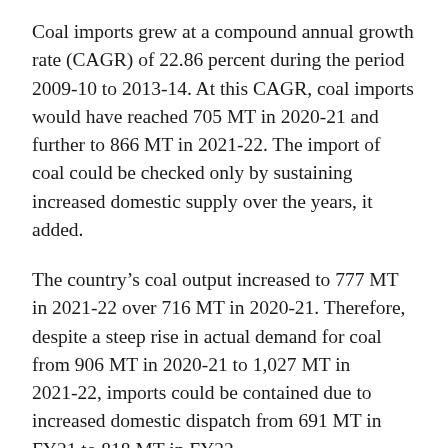Coal imports grew at a compound annual growth rate (CAGR) of 22.86 percent during the period 2009-10 to 2013-14. At this CAGR, coal imports would have reached 705 MT in 2020-21 and further to 866 MT in 2021-22. The import of coal could be checked only by sustaining increased domestic supply over the years, it added.
The country's coal output increased to 777 MT in 2021-22 over 716 MT in 2020-21. Therefore, despite a steep rise in actual demand for coal from 906 MT in 2020-21 to 1,027 MT in 2021-22, imports could be contained due to increased domestic dispatch from 691 MT in FY21 to 818 MT in FY22.